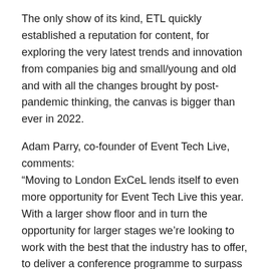The only show of its kind, ETL quickly established a reputation for content, for exploring the very latest trends and innovation from companies big and small/young and old and with all the changes brought by post-pandemic thinking, the canvas is bigger than ever in 2022.
Adam Parry, co-founder of Event Tech Live, comments: “Moving to London ExCeL lends itself to even more opportunity for Event Tech Live this year. With a larger show floor and in turn the opportunity for larger stages we’re looking to work with the best that the industry has to offer, to deliver a conference programme to surpass anything that we’ve done before.
“If you’re a thought leader with a compelling case or impact study – we want to hear from you.”
Sally Connors co-found ETL from the time at EIBTM...